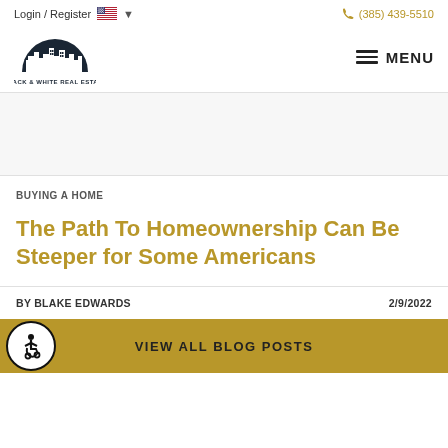Login / Register   (385) 439-5510
[Figure (logo): Black & White Real Estate logo — dark semicircle with city skyline silhouette, text 'BLACK & WHITE REAL ESTATE' below]
MENU
BUYING A HOME
The Path To Homeownership Can Be Steeper for Some Americans
BY BLAKE EDWARDS   2/9/2022
VIEW ALL BLOG POSTS